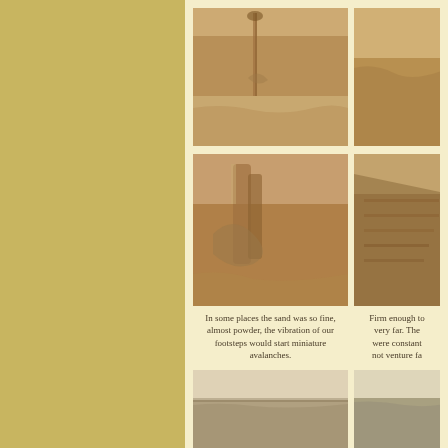[Figure (photo): Close-up photograph of fine desert sand with small plant or twig impressions and small animal tracks visible on the surface]
[Figure (photo): Partial view of a second desert sand photo, cropped at right edge]
[Figure (photo): Desert sand dune with windblown sand shapes resembling draping forms or pillars, soft light]
[Figure (photo): Partial view of a desert dune photo showing diagonal ridged sand patterns, cropped at right edge]
In some places the sand was so fine, almost powder, the vibration of our footsteps would start miniature avalanches.
Firm enough to very far. The were constant not venture fa
[Figure (photo): Wide landscape photograph of a desert terrain with rocky or sandy ground under a pale sky]
[Figure (photo): Partial second landscape photograph of desert terrain, cropped at right edge]